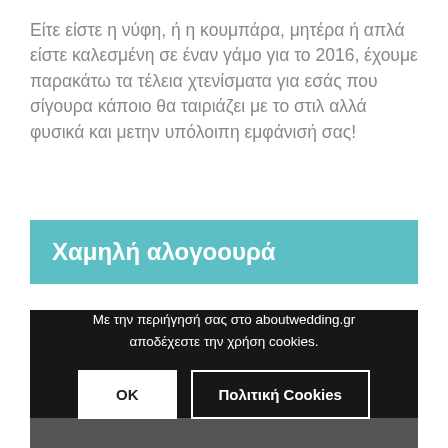Είτε είστε η νύφη, ή η κουμπάρα, μητέρα ή απλά είστε καλεσμένη σε έναν γάμο για το 2016, έχουμε παρακάτω τα τέλεια χτενίσματα για εσάς που σίγουρα κάποιο θα ταιριάζει με το στιλ αλλά φυσικά και μετην υπόλοιπη εμφάνισή σας!
Χαμηλή αλογοουρά
[Figure (photo): Dark overlay with cookie consent dialog over a photo of a woman, with two buttons: OK and Πολιτική Cookies]